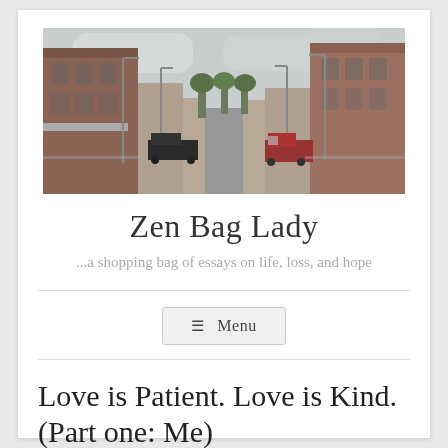[Figure (photo): Photograph of a small-town main street with brick buildings on both sides, street lights, parked vehicles, trees in the distance, and an overcast sky.]
Zen Bag Lady
...a shopping bag of essays on life, loss, and hope
Menu
Love is Patient. Love is Kind. (Part one: Me)